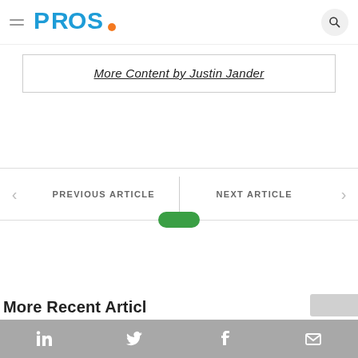[Figure (logo): PROS. logo in blue and orange]
More Content by Justin Jander
PREVIOUS ARTICLE
NEXT ARTICLE
More Recent Articles
[Figure (infographic): Social share bar with LinkedIn, Twitter, Facebook, and email icons on grey background]